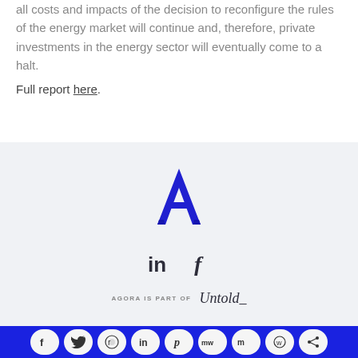all costs and impacts of the decision to reconfigure the rules of the energy market will continue and, therefore, private investments in the energy sector will eventually come to a halt.
Full report here.
[Figure (logo): Agora logo — stylized letter A in dark blue/indigo color]
[Figure (infographic): LinkedIn and Facebook social icons in dark color]
AGORA IS PART OF Untold_
[Figure (infographic): Blue bottom bar with social sharing buttons: Facebook, Twitter, Reddit, LinkedIn, Pinterest, MeWe, Mix, WhatsApp, Share]